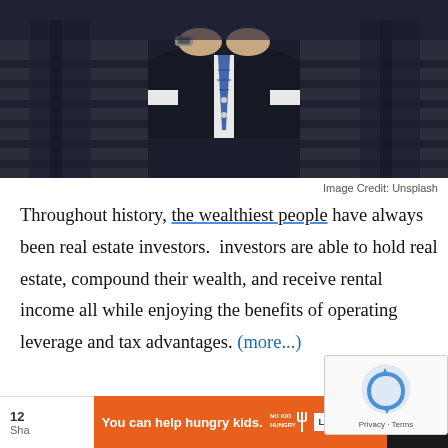[Figure (photo): Photo of a person in a dark suit adjusting cufflinks, with a blue striped tie, wristwatch visible, standing in front of steps.]
Image Credit: Unsplash
Throughout history, the wealthiest people have always been real estate investors.  investors are able to hold real estate, compound their wealth, and receive rental income all while enjoying the benefits of operating leverage and tax advantages. (more...)
[Figure (other): reCAPTCHA widget overlay with Privacy and Terms links]
12  Sha  You can help hungry kids.  NO KID HUNGRY  LEARN HOW